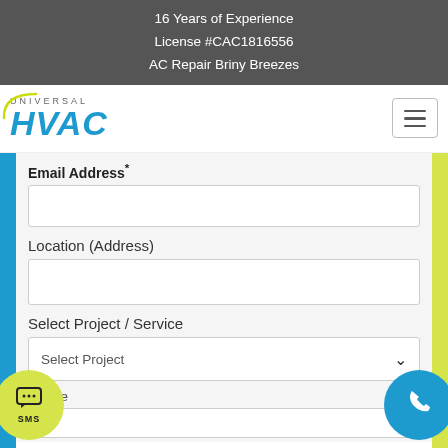16 Years of Experience
License #CAC1816556
AC Repair Briny Breezes
[Figure (logo): Universal HVAC logo with arc graphic and blue HVAC text]
Email Address*
Location (Address)
Select Project / Service
Select Project
ssage